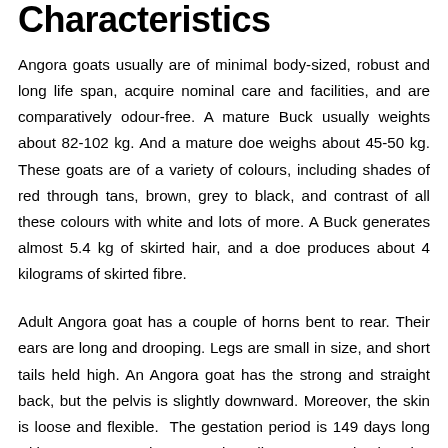Characteristics
Angora goats usually are of minimal body-sized, robust and long life span, acquire nominal care and facilities, and are comparatively odour-free. A mature Buck usually weights about 82-102 kg. And a mature doe weighs about 45-50 kg. These goats are of a variety of colours, including shades of red through tans, brown, grey to black, and contrast of all these colours with white and lots of more. A Buck generates almost 5.4 kg of skirted hair, and a doe produces about 4 kilograms of skirted fibre.
Adult Angora goat has a couple of horns bent to rear. Their ears are long and drooping. Legs are small in size, and short tails held high. An Angora goat has the strong and straight back, but the pelvis is slightly downward. Moreover, the skin is loose and flexible. The gestation period is 149 days long with a pronounced autumn breeding season; bucks also prove a